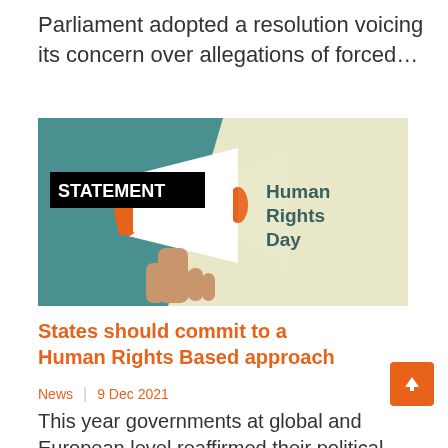Parliament adopted a resolution voicing its concern over allegations of forced...
[Figure (photo): A hand holding a megaphone/loudspeaker paper craft on a teal background with a cream diagonal section. Text overlay reads 'STATEMENT' in a black box, and 'Human Rights Day' on the cream section in dark teal bold text.]
States should commit to a Human Rights Based approach
News  |  9 Dec 2021
This year governments at global and European level reaffirmed their political